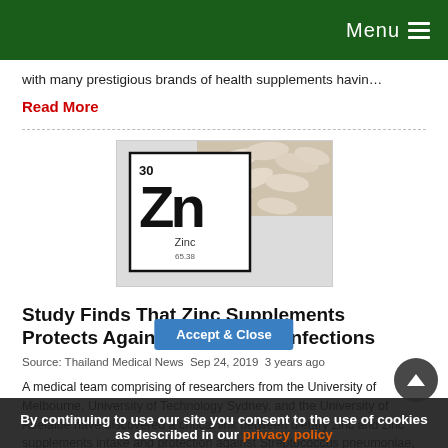Menu
with many prestigious brands of health supplements havin…
Read More
[Figure (photo): Photo of a periodic table element card for Zinc (Zn, atomic number 30, atomic mass 65.38) with white supplement capsules/pills spilling onto it from the upper right corner, on a light grey background.]
Study Finds That Zinc Supplements Protects Against Pneumonia Infections
Source: Thailand Medical News  Sep 24, 2019  3 years ago
A medical team comprising of researchers from the University of Melbourne, University of Technology Sydney, and the University of Adelaide have discovered a critical link between dietary zinc and zinc supplements intake and protection against Streptococcus pneumoniae, the primary bacterial cause of pneumonia. The study showed that
By continuing to use our site you consent to the use of cookies as described in our privacy policy
Accept & Close